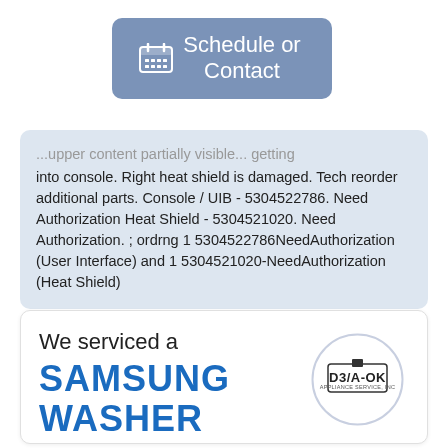[Figure (screenshot): Blue-grey rounded button with a calendar icon and text 'Schedule or Contact']
...upper content partially visible... into console. Right heat shield is damaged. Tech reorder additional parts. Console / UIB - 5304522786. Need Authorization Heat Shield - 5304521020. Need Authorization. ; ordrng 1 5304522786NeedAuthorization (User Interface) and 1 5304521020-NeedAuthorization (Heat Shield)
We serviced a
SAMSUNG WASHER
[Figure (logo): D3/A-OK Appliance Service Inc logo in a circle]